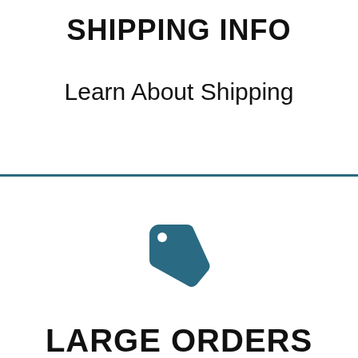SHIPPING INFO
Learn About Shipping
[Figure (illustration): A teal/dark blue price tag icon]
LARGE ORDERS